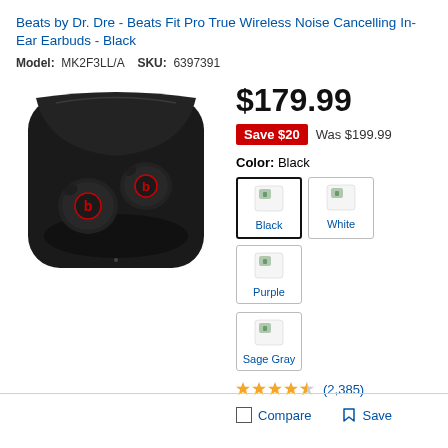Beats by Dr. Dre - Beats Fit Pro True Wireless Noise Cancelling In-Ear Earbuds - Black
Model: MK2F3LL/A   SKU: 6397391
[Figure (photo): Beats Fit Pro earbuds in black color in their charging case, open lid showing two earbuds with red Beats logo]
$179.99
Save $20  Was $199.99
Color: Black
[Figure (other): Color swatches: Black (selected), White, Purple, Sage Gray]
4.5 stars (2,385)
Compare  Save